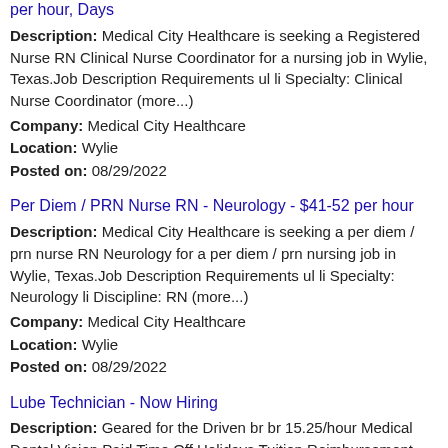per hour, Days
Description: Medical City Healthcare is seeking a Registered Nurse RN Clinical Nurse Coordinator for a nursing job in Wylie, Texas.Job Description Requirements ul li Specialty: Clinical Nurse Coordinator (more...)
Company: Medical City Healthcare
Location: Wylie
Posted on: 08/29/2022
Per Diem / PRN Nurse RN - Neurology - $41-52 per hour
Description: Medical City Healthcare is seeking a per diem / prn nurse RN Neurology for a per diem / prn nursing job in Wylie, Texas.Job Description Requirements ul li Specialty: Neurology li Discipline: RN (more...)
Company: Medical City Healthcare
Location: Wylie
Posted on: 08/29/2022
Lube Technician - Now Hiring
Description: Geared for the Driven br br 15.25/hour Medical Dental Vision Paid Time Off Holidays Tuition Reimbursement 401 k Savings with Match Back-up Family Care br br What You'll Do: (more...)
Company: Valvoline Instant Oil Change
Location: Wylie